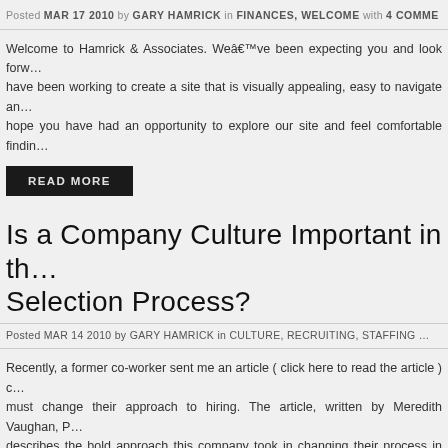Posted MAR 17 2010 by GARY HAMRICK in FINANCES, WELCOME with 4 COMME...
Welcome to Hamrick & Associates. Weâ€™ve been expecting you and look forw... have been working to create a site that is visually appealing, easy to navigate an... hope you have had an opportunity to explore our site and feel comfortable findin...
READ MORE
Is a Company Culture Important in th... Selection Process?
Posted MAR 14 2010 by GARY HAMRICK in CULTURE, RECRUITING, STAFFING...
Recently, a former co-worker sent me an article ( click here to read the article ) c... must change their approach to hiring. The article, written by Meredith Vaughan, P... describes the bold approach this company took in changing their process in hirin... steps Meredith [...]
READ MORE